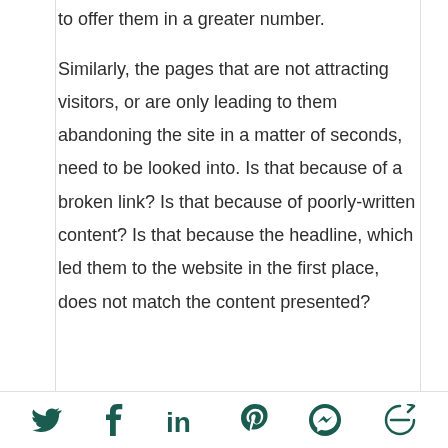to offer them in a greater number.
Similarly, the pages that are not attracting visitors, or are only leading to them abandoning the site in a matter of seconds, need to be looked into. Is that because of a broken link? Is that because of poorly-written content? Is that because the headline, which led them to the website in the first place, does not match the content presented?
[Figure (other): Social media sharing icons: Twitter, Facebook, LinkedIn, Pinterest, Messenger, and a share/refresh icon, displayed in dark teal/green color at the bottom of the page.]